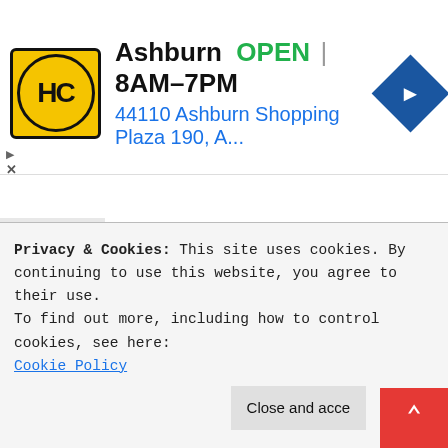[Figure (screenshot): Advertisement banner for HC (Ashburn), showing logo, OPEN status, hours 8AM-7PM, address 44110 Ashburn Shopping Plaza 190, A..., and navigation icon]
distancing themselves from potential Biblical busters. If I ever do see a man who comes to Earth and the last thing I will ever call him, will be super.
in the conversation:
nments
Privacy & Cookies: This site uses cookies. By continuing to use this website, you agree to their use.
To find out more, including how to control cookies, see here:
Cookie Policy